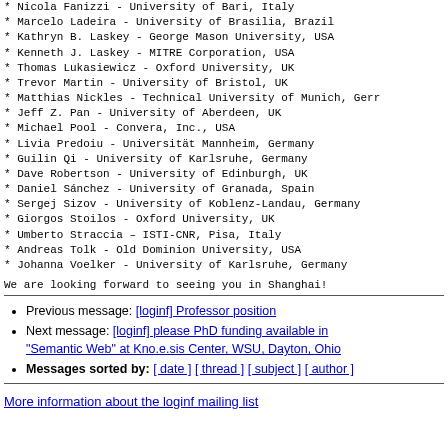* Nicola Fanizzi - University of Bari, Italy
* Marcelo Ladeira - University of Brasilia, Brazil
* Kathryn B. Laskey - George Mason University, USA
* Kenneth J. Laskey - MITRE Corporation, USA
* Thomas Lukasiewicz - Oxford University, UK
* Trevor Martin - University of Bristol, UK
* Matthias Nickles - Technical University of Munich, Germ
* Jeff Z. Pan - University of Aberdeen, UK
* Michael Pool - Convera, Inc., USA
* Livia Predoiu - Universität Mannheim, Germany
* Guilin Qi - University of Karlsruhe, Germany
* Dave Robertson - University of Edinburgh, UK
* Daniel Sánchez - University of Granada, Spain
* Sergej Sizov - University of Koblenz-Landau, Germany
* Giorgos Stoilos - Oxford University, UK
* Umberto Straccia – ISTI-CNR, Pisa, Italy
* Andreas Tolk - Old Dominion University, USA
* Johanna Voelker - University of Karlsruhe, Germany
We are looking forward to seeing you in Shanghai!
Previous message: [loginf] Professor position
Next message: [loginf] please PhD funding available in "Semantic Web" at Kno.e.sis Center, WSU, Dayton, Ohio
Messages sorted by: [ date ] [ thread ] [ subject ] [ author ]
More information about the loginf mailing list